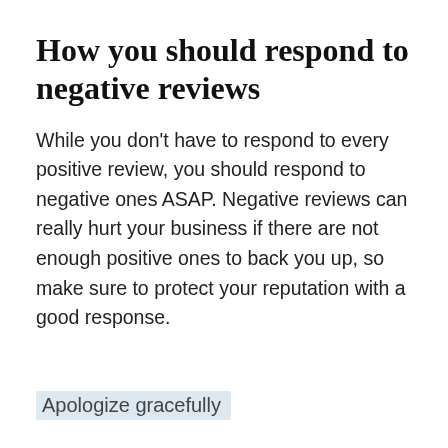How you should respond to negative reviews
While you don't have to respond to every positive review, you should respond to negative ones ASAP. Negative reviews can really hurt your business if there are not enough positive ones to back you up, so make sure to protect your reputation with a good response.
Apologize gracefully